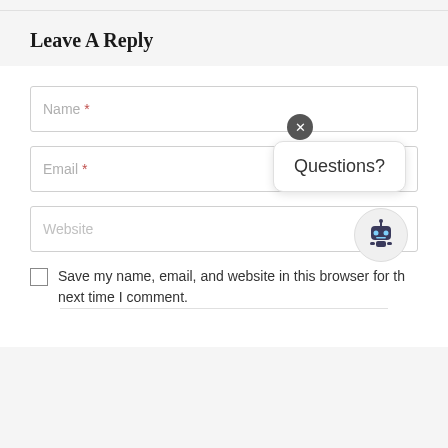Leave A Reply
Name *
Email *
Website
Save my name, email, and website in this browser for the next time I comment.